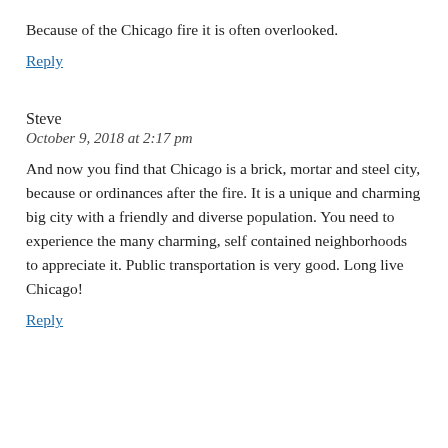Because of the Chicago fire it is often overlooked.
Reply
Steve
October 9, 2018 at 2:17 pm
And now you find that Chicago is a brick, mortar and steel city, because or ordinances after the fire. It is a unique and charming big city with a friendly and diverse population. You need to experience the many charming, self contained neighborhoods to appreciate it. Public transportation is very good. Long live Chicago!
Reply